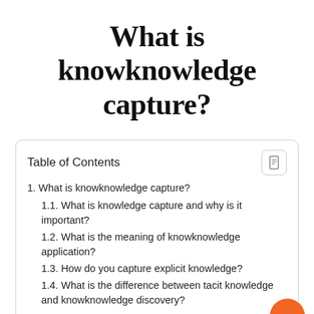What is knowknowledge capture?
| Table of Contents |
| --- |
| 1. What is knowknowledge capture? |
| 1.1. What is knowledge capture and why is it important? |
| 1.2. What is the meaning of knowknowledge application? |
| 1.3. How do you capture explicit knowledge? |
| 1.4. What is the difference between tacit knowledge and knowknowledge discovery? |